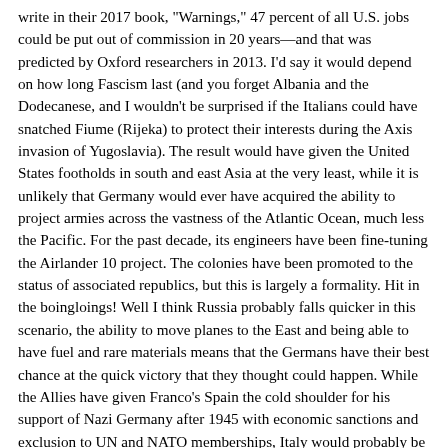write in their 2017 book, "Warnings," 47 percent of all U.S. jobs could be put out of commission in 20 years—and that was predicted by Oxford researchers in 2013. I'd say it would depend on how long Fascism last (and you forget Albania and the Dodecanese, and I wouldn't be surprised if the Italians could have snatched Fiume (Rijeka) to protect their interests during the Axis invasion of Yugoslavia). The result would have given the United States footholds in south and east Asia at the very least, while it is unlikely that Germany would ever have acquired the ability to project armies across the vastness of the Atlantic Ocean, much less the Pacific. For the past decade, its engineers have been fine-tuning the Airlander 10 project. The colonies have been promoted to the status of associated republics, but this is largely a formality. Hit in the boingloings! Well I think Russia probably falls quicker in this scenario, the ability to move planes to the East and being able to have fuel and rare materials means that the Germans have their best chance at the quick victory that they thought could happen. While the Allies have given Franco's Spain the cold shoulder for his support of Nazi Germany after 1945 with economic sanctions and exclusion to UN and NATO memberships, Italy would probably be welcomed to the fold of the UN and NATO given its strategic location at the fringes of the Iron Curtain, the boundary separating western Europe from the Soviet sphere of influence in eastern Europe.